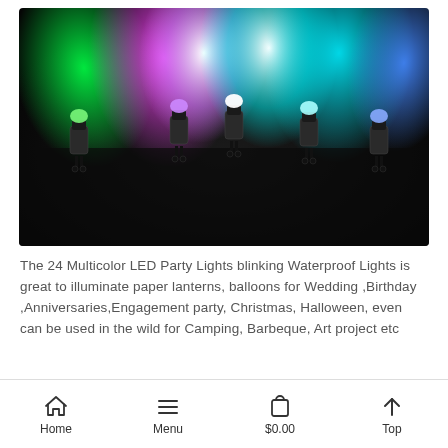[Figure (photo): Five small LED lights glowing in multiple colors (green, purple, white, cyan, blue) against a dark background, illuminating colorful light beams upward.]
The 24 Multicolor LED Party Lights blinking Waterproof Lights is great to illuminate paper lanterns, balloons for Wedding ,Birthday ,Anniversaries,Engagement party, Christmas, Halloween, even can be used in the wild for Camping, Barbeque, Art project etc
Home   Menu   $0.00   Top